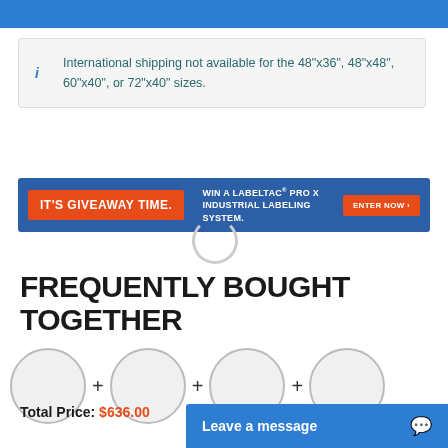[Figure (other): Blue header bar at top of page]
International shipping not available for the 48"x36", 48"x48", 60"x40", or 72"x40" sizes.
[Figure (infographic): Promotional banner: IT'S GIVEAWAY TIME. WIN A LABELTAC® PRO X INDUSTRIAL LABELING SYSTEM. ENTER NOW button.]
FREQUENTLY BOUGHT TOGETHER
[Figure (other): Four product thumbnail circles with plus signs between them, indicating frequently bought together items]
Total Price: $636.00
[Figure (other): Leave a message chat button]